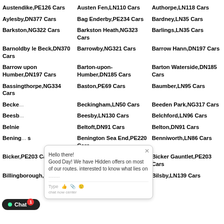Austendike,PE126 Cars
Austen Fen,LN110 Cars
Authorpe,LN118 Cars
Aylesby,DN377 Cars
Bag Enderby,PE234 Cars
Bardney,LN35 Cars
Barkston,NG322 Cars
Barkston Heath,NG323 Cars
Barlings,LN35 Cars
Barnoldby le Beck,DN370 Cars
Barrowby,NG321 Cars
Barrow Hann,DN197 Cars
Barrow upon Humber,DN197 Cars
Barton-upon-Humber,DN185 Cars
Barton Waterside,DN185 Cars
Bassingthorpe,NG334 Cars
Baston,PE69 Cars
Baumber,LN95 Cars
Beckingham,LN50 Cars
Beeden Park,NG317 Cars
Beesby,LN130 Cars
Belchford,LN96 Cars
Belnie
Beltoft,DN91 Cars
Belton,DN91 Cars
Benington Sea End,PE220 Cars
Benniworth,LN86 Cars
Bicker,PE203 Cars
Bicker Bar,PE203 Cars
Bicker Gauntlet,PE203 Cars
Billingborough,NG340
Billinghay,LN44 Cars
Bilsby,LN139 Cars